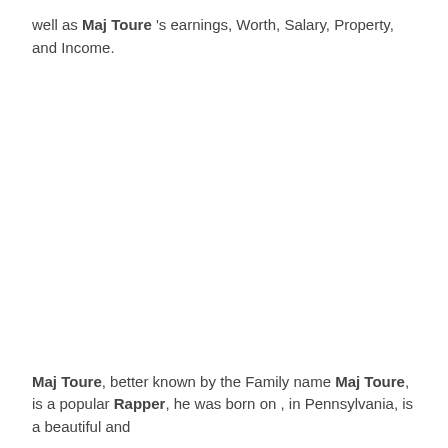well as Maj Toure 's earnings, Worth, Salary, Property, and Income.
Maj Toure, better known by the Family name Maj Toure, is a popular Rapper, he was born on, in Pennsylvania, is a beautiful and